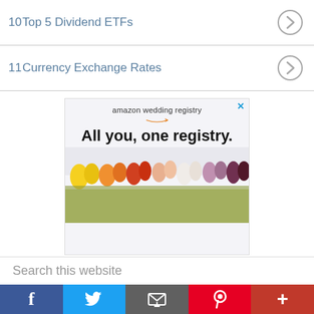10 Top 5 Dividend ETFs
11 Currency Exchange Rates
[Figure (photo): Amazon wedding registry advertisement showing colorful flowers with text 'amazon wedding registry' and 'All you, one registry.']
Search this website